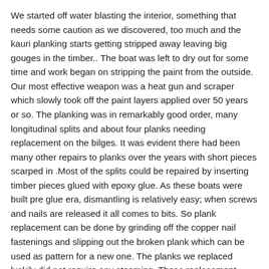We started off water blasting the interior, something that needs some caution as we discovered, too much and the kauri planking starts getting stripped away leaving big gouges in the timber.. The boat was left to dry out for some time and work began on stripping the paint from the outside. Our most effective weapon was a heat gun and scraper which slowly took off the paint layers applied over 50 years or so. The planking was in remarkably good order, many longitudinal splits and about four planks needing replacement on the bilges. It was evident there had been many other repairs to planks over the years with short pieces scarped in .Most of the splits could be repaired by inserting timber pieces glued with epoxy glue. As these boats were built pre glue era, dismantling is relatively easy; when screws and nails are released it all comes to bits. So plank replacement can be done by grinding off the copper nail fastenings and slipping out the broken plank which can be used as pattern for a new one. The planks we replaced luckily did not require any steaming. These replacement planks were from 30 odd year old kawaka timber sourced by Graham Mander, very clean and dry. They were glued in place but to retain some integrity to the original has been nailed and copper roved as well.